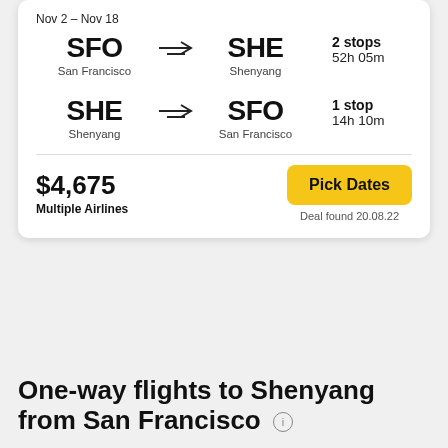Nov 2 – Nov 18
SFO → SHE, San Francisco to Shenyang, 2 stops, 52h 05m
SHE → SFO, Shenyang to San Francisco, 1 stop, 14h 10m
$4,675
Multiple Airlines
Pick Dates
Deal found 20.08.22
One-way flights to Shenyang from San Francisco ⓘ